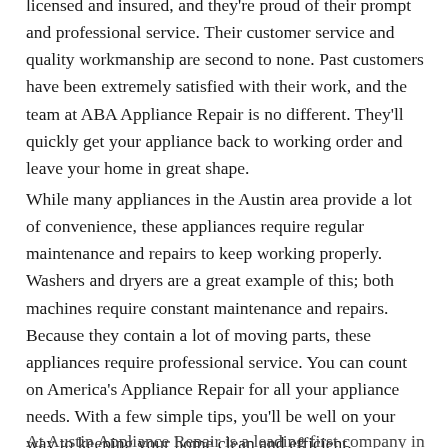licensed and insured, and they're proud of their prompt and professional service. Their customer service and quality workmanship are second to none. Past customers have been extremely satisfied with their work, and the team at ABA Appliance Repair is no different. They'll quickly get your appliance back to working order and leave your home in great shape.
While many appliances in the Austin area provide a lot of convenience, these appliances require regular maintenance and repairs to keep working properly. Washers and dryers are a great example of this; both machines require constant maintenance and repairs. Because they contain a lot of moving parts, these appliances require professional service. You can count on America's Appliance Repair for all your appliance needs. With a few simple tips, you'll be well on your way to keeping your home clean and efficient.
At Austin Appliance Repair is a leading first company in...